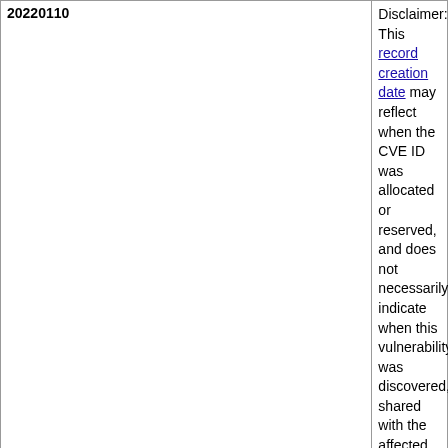|  |  |
| --- | --- |
| 20220110 | Disclaimer: This record creation date may reflect when the CVE ID was allocated or reserved, and does not necessarily indicate when this vulnerability was discovered, shared with the affected vendor, publicly disclosed, or updated in CVE. |
| Phase (Legacy) |  |
| Assigned (20220110) |  |
| Votes (Legacy) |  |
|  |  |
| Comments (Legacy) |  |
|  |  |
| Proposed (Legacy) |  |
| N/A |  |
This is a record on the CVE List, which provides common identifiers for publicly known cybersecurity vulnerabilities.
SEARCH CVE USING KEYWORDS: [input] Submit
You can also search by reference using the CVE Reference Maps.
For More Information: CVE Request Web Form (select "Other" from dropdown)